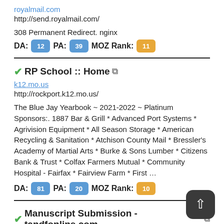royalmail.com
http://send.royalmail.com/
308 Permanent Redirect. nginx
DA: 12  PA: 39  MOZ Rank: 11
✔RP School :: Home
k12.mo.us
http://rockport.k12.mo.us/
The Blue Jay Yearbook ~ 2021-2022 ~ Platinum Sponsors:. 1887 Bar & Grill * Advanced Port Systems * Agrivision Equipment * All Season Storage * American Recycling & Sanitation * Atchison County Mail * Bressler's Academy of Martial Arts * Burke & Sons Lumber * Citizens Bank & Trust * Colfax Farmers Mutual * Community Hospital - Fairfax * Fairview Farm * First …
DA: 81  PA: 20  MOZ Rank: 10
✔Manuscript Submission - tandfonline.com
tandfonline.com